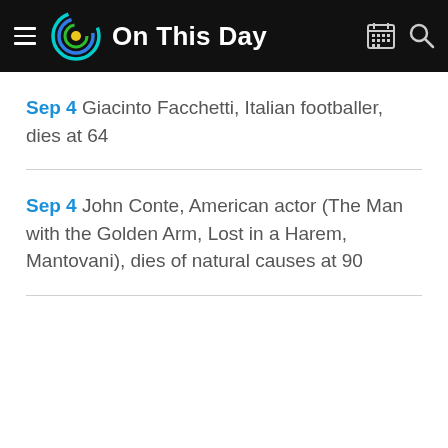On This Day
Sep 4 Giacinto Facchetti, Italian footballer, dies at 64
Sep 4 John Conte, American actor (The Man with the Golden Arm, Lost in a Harem, Mantovani), dies of natural causes at 90